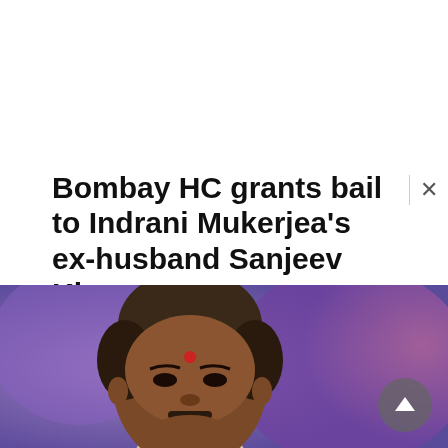Bombay HC grants bail to Indrani Mukerjea's ex-husband Sanjeev Khanna
By PTI MUMBAI: The Bombay High Court on Tuesday granted bail to Sanjeev Khanna, the previous husband of Indrani Mukerjea,… Read More
2 months ago
[Figure (photo): Close-up photograph of a middle-aged Indian man with short gray-black hair, a red bindi on his forehead, against a blurred colorful background of purple and pink hues.]